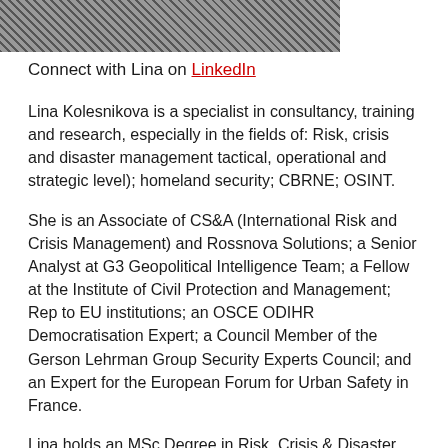[Figure (photo): Black and white photograph of Lina Kolesnikova (partially visible at top of page)]
Connect with Lina on LinkedIn
Lina Kolesnikova is a specialist in consultancy, training and research, especially in the fields of: Risk, crisis and disaster management tactical, operational and strategic level); homeland security; CBRNE; OSINT.
She is an Associate of CS&A (International Risk and Crisis Management) and Rossnova Solutions; a Senior Analyst at G3 Geopolitical Intelligence Team; a Fellow at the Institute of Civil Protection and Management; Rep to EU institutions; an OSCE ODIHR Democratisation Expert; a Council Member of the Gerson Lehrman Group Security Experts Council; and an Expert for the European Forum for Urban Safety in France.
Lina holds an MSc Degree in Risk, Crisis & Disaster Management from Leicester University, UK; an MA in